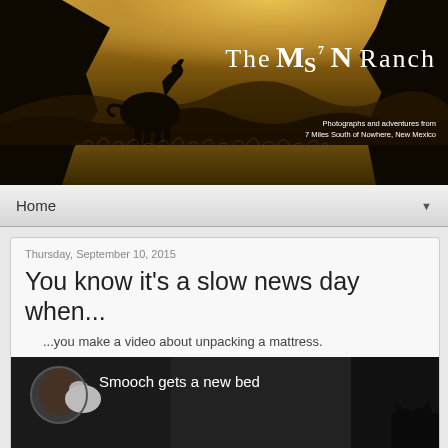[Figure (photo): Ranch website banner showing a donkey silhouette in a golden field at dusk, framed by dark tree silhouettes on left and right, with text overlay reading 'The M7N Ranch - Photographs and adventures from 7 Miles South of Nowhere, New Mexico']
Home ▼
Thursday, September 10, 2015
You know it's a slow news day when...
...you make a video about unpacking a mattress.
[Figure (screenshot): Video thumbnail showing a person's face on left with a small white animal, and text 'Smooch gets a new bed' on a dark background, with a dark cat silhouette visible at the bottom right]